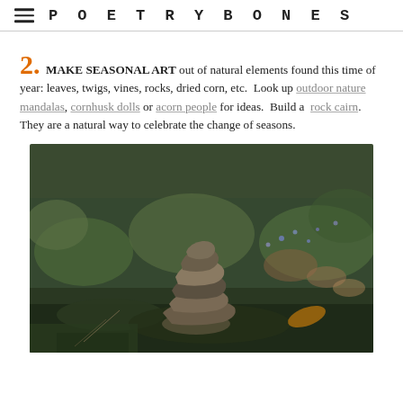POETRYBONES
2. MAKE SEASONAL ART out of natural elements found this time of year: leaves, twigs, vines, rocks, dried corn, etc. Look up outdoor nature mandalas, cornhusk dolls or acorn people for ideas. Build a rock cairn. They are a natural way to celebrate the change of seasons.
[Figure (photo): A rock cairn (stacked stones) sitting on mossy ground surrounded by green plants, leaves, and small purple flowers. The photo is taken outdoors with a natural background.]